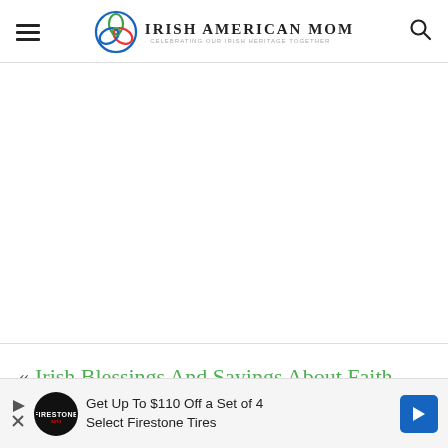Irish American Mom - Celebrating Our Irish Heritage Together
[Figure (other): Blank white advertisement/content area]
« Irish Blessings And Sayings About Faith
[Figure (other): Bottom advertisement banner: Get Up To $110 Off a Set of 4 Select Firestone Tires]